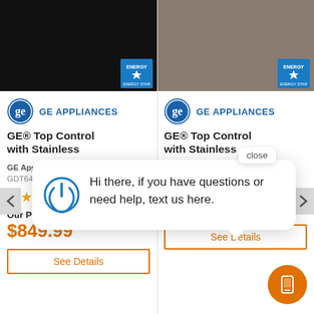[Figure (screenshot): Two GE dishwasher product listings side by side with a chat popup overlay. Left product shows black appliance, right shows slate/gray appliance. Both have Energy Star badges and GE Appliances branding. A chat popup says 'Hi there, if you have questions or need help, text us here.' A close button and orange phone/text button are also visible. Left product: GE® Top Control with Stainless, GDT645SGNBB, 4+ stars, $849.99. Right product: GE® Top Control with Stainless, $899.99.]